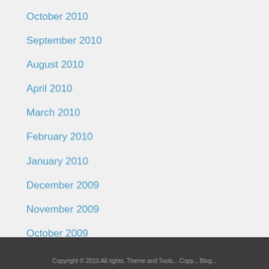October 2010
September 2010
August 2010
April 2010
March 2010
February 2010
January 2010
December 2009
November 2009
October 2009
September 2009
August 2009
July 2009
Copyright © 2010 All rights. Theme and Tools...